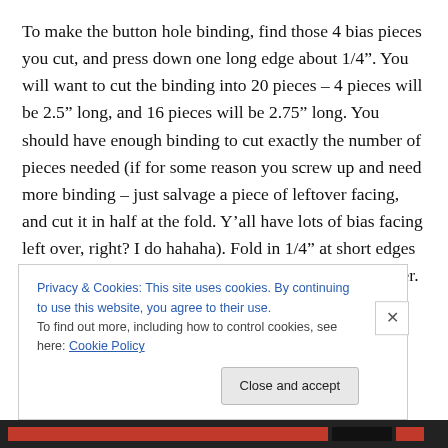To make the button hole binding, find those 4 bias pieces you cut, and press down one long edge about 1/4". You will want to cut the binding into 20 pieces – 4 pieces will be 2.5" long, and 16 pieces will be 2.75" long. You should have enough binding to cut exactly the number of pieces needed (if for some reason you screw up and need more binding – just salvage a piece of leftover facing, and cut it in half at the fold. Y'all have lots of bias facing left over, right? I do hahaha). Fold in 1/4" at short edges of each little piece and press. Yes, this part takes forever. Sorry.
Privacy & Cookies: This site uses cookies. By continuing to use this website, you agree to their use.
To find out more, including how to control cookies, see here: Cookie Policy
Close and accept